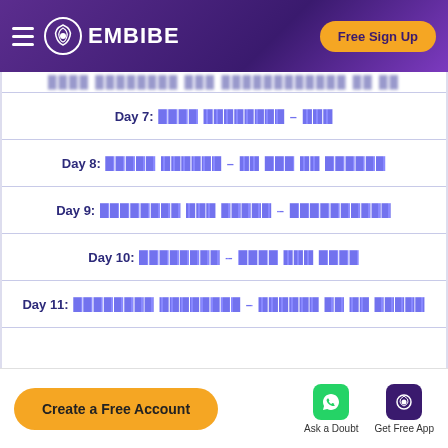EMBIBE — Free Sign Up
Day 7: [redacted content]
Day 8: [redacted content]
Day 9: [redacted content]
Day 10: [redacted content]
Day 11: [redacted content]
Create a Free Account | Ask a Doubt | Get Free App